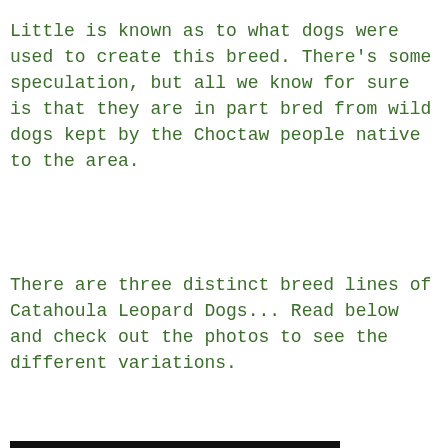Little is known as to what dogs were used to create this breed. There's some speculation, but all we know for sure is that they are in part bred from wild dogs kept by the Choctaw people native to the area.
There are three distinct breed lines of Catahoula Leopard Dogs... Read below and check out the photos to see the different variations.